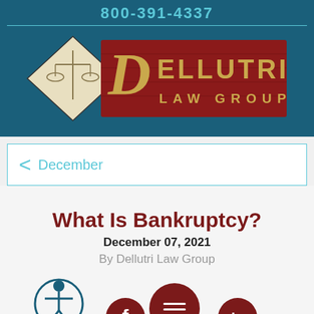800-391-4337
[Figure (logo): Dellutri Law Group logo with scales of justice on dark teal background with red banner]
December
What Is Bankruptcy?
December 07, 2021
By Dellutri Law Group
[Figure (illustration): Social media icons: accessibility icon, Facebook, menu/chat icon, LinkedIn, at bottom of page]